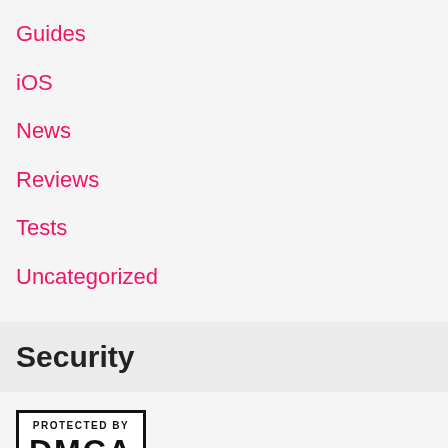Guides
iOS
News
Reviews
Tests
Uncategorized
Security
[Figure (logo): Protected by DMCA badge — black bordered rectangle with 'PROTECTED BY' text above large 'DMCA' text]